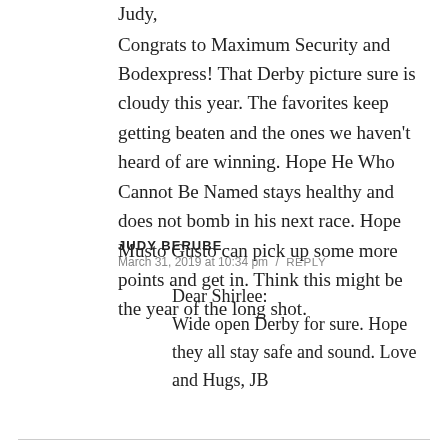Judy,
Congrats to Maximum Security and Bodexpress! That Derby picture sure is cloudy this year. The favorites keep getting beaten and the ones we haven't heard of are winning. Hope He Who Cannot Be Named stays healthy and does not bomb in his next race. Hope Musto Gusto can pick up some more points and get in. Think this might be the year of the long shot.
JUDY BERUBE
March 31, 2019 at 10:34 pm / REPLY
Dear Shirlee:
Wide open Derby for sure. Hope they all stay safe and sound. Love and Hugs, JB